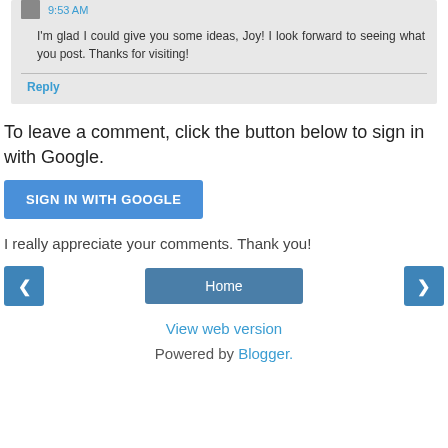9:53 AM
I'm glad I could give you some ideas, Joy! I look forward to seeing what you post. Thanks for visiting!
Reply
To leave a comment, click the button below to sign in with Google.
SIGN IN WITH GOOGLE
I really appreciate your comments. Thank you!
❮
Home
❯
View web version
Powered by Blogger.